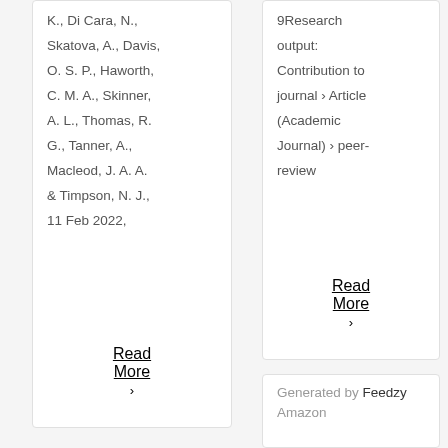K., Di Cara, N., Skatova, A., Davis, O. S. P., Haworth, C. M. A., Skinner, A. L., Thomas, R. G., Tanner, A., Macleod, J. A. A. & Timpson, N. J., 11 Feb 2022,
Read More >
9Research output: Contribution to journal › Article (Academic Journal) › peer-review
Read More >
Generated by Feedzy Amazon